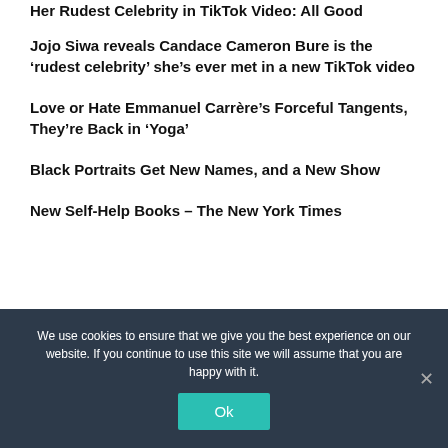Her Rudest Celebrity in TikTok Video: All Good
Jojo Siwa reveals Candace Cameron Bure is the ‘rudest celebrity’ she’s ever met in a new TikTok video
Love or Hate Emmanuel Carrère’s Forceful Tangents, They’re Back in ‘Yoga’
Black Portraits Get New Names, and a New Show
New Self-Help Books – The New York Times
We use cookies to ensure that we give you the best experience on our website. If you continue to use this site we will assume that you are happy with it.